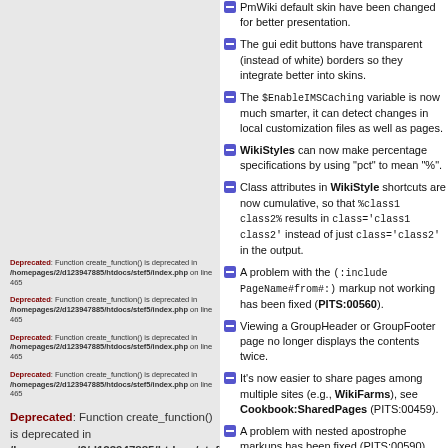PmWiki default skin have been changed for better presentation.
The gui edit buttons have transparent (instead of white) borders so they integrate better into skins.
The $EnableIMSCaching variable is now much smarter, it can detect changes in local customization files as well as pages.
WikiStyles can now make percentage specifications by using "pct" to mean "%".
Class attributes in WikiStyle shortcuts are now cumulative, so that %class1 class2% results in class='class1 class2' instead of just class='class2' in the output.
A problem with the (:include PageName#from#:) markup not working has been fixed (PITS:00560).
Viewing a GroupHeader or GroupFooter page no longer displays the contents twice.
It's now easier to share pages among multiple sites (e.g., WikiFarms), see Cookbook:SharedPages (PITS:00459).
A problem with nested apostrophe markups has been fixed (PITS:00590).
PmWiki is now smarter about not surrounding block HTML tags with <p>...</p> tags.
If an [[#anchor]] is used more than
Deprecated: Function create_function() is deprecated in /homepages/2/d123947885/htdocs/stef5/index.php on line 465 (x4 small)
Deprecated: Function create_function() is deprecated in /homepages/2/d123947885/htdocs/stef5/index.php on line 468 (x3 large)